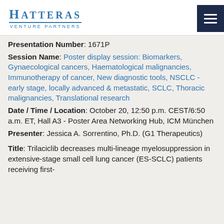Hatteras Venture Partners
Presentation Number: 1671P
Session Name: Poster display session: Biomarkers, Gynaecological cancers, Haematological malignancies, Immunotherapy of cancer, New diagnostic tools, NSCLC - early stage, locally advanced & metastatic, SCLC, Thoracic malignancies, Translational research
Date / Time / Location: October 20, 12:50 p.m. CEST/6:50 a.m. ET, Hall A3 - Poster Area Networking Hub, ICM München
Presenter: Jessica A. Sorrentino, Ph.D. (G1 Therapeutics)
Title: Trilaciclib decreases multi-lineage myelosuppression in extensive-stage small cell lung cancer (ES-SCLC) patients receiving first-